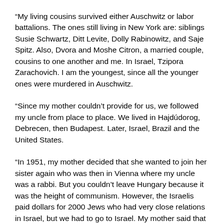“My living cousins survived either Auschwitz or labor battalions. The ones still living in New York are: siblings Susie Schwartz, Ditt Levite, Dolly Rabinowitz, and Saje Spitz. Also, Dvora and Moshe Citron, a married couple, cousins to one another and me. In Israel, Tzipora Zarachovich. I am the youngest, since all the younger ones were murdered in Auschwitz.
“Since my mother couldn’t provide for us, we followed my uncle from place to place. We lived in Hajdúdorog, Debrecen, then Budapest. Later, Israel, Brazil and the United States.
“In 1951, my mother decided that she wanted to join her sister again who was then in Vienna where my uncle was a rabbi. But you couldn’t leave Hungary because it was the height of communism. However, the Israelis paid dollars for 2000 Jews who had very close relations in Israel, but we had to go to Israel. My mother said that maybe in Vienna we can leave the train.